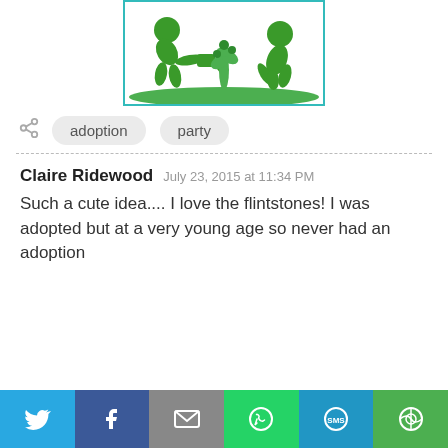[Figure (illustration): Green silhouette illustration of children and plants/flowers on white background, framed with a teal/cyan border]
adoption  party
Claire Ridewood   July 23, 2015 at 11:34 PM
Such a cute idea.... I love the flintstones! I was adopted but at a very young age so never had an adoption